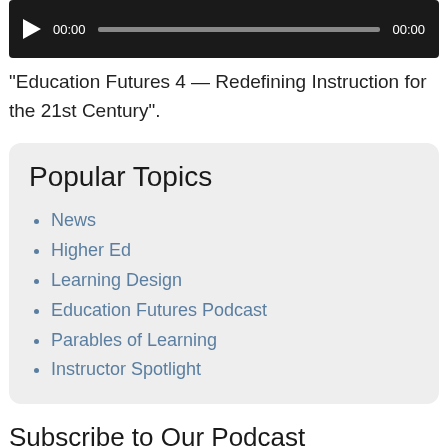[Figure (other): Audio player with play button, timestamp 00:00, progress bar, and end time 00:00 on dark background]
“Education Futures 4 — Redefining Instruction for the 21st Century”.
Popular Topics
News
Higher Ed
Learning Design
Education Futures Podcast
Parables of Learning
Instructor Spotlight
Subscribe to Our Podcast
Apple Podcasts